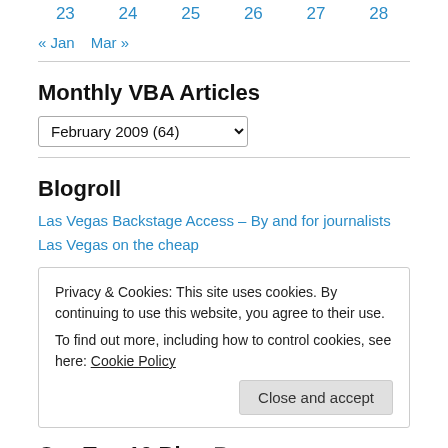23  24  25  26  27  28
« Jan   Mar »
Monthly VBA Articles
February 2009  (64)
Blogroll
Las Vegas Backstage Access – By and for journalists
Las Vegas on the cheap
Privacy & Cookies: This site uses cookies. By continuing to use this website, you agree to their use.
To find out more, including how to control cookies, see here: Cookie Policy
Close and accept
Our Top 10 Blog Posts